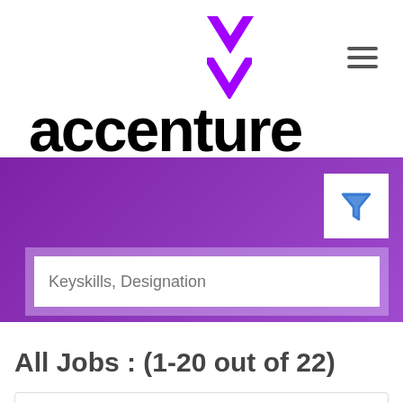[Figure (logo): Accenture logo with purple chevron symbol above the word 'accenture' in bold black letters]
[Figure (screenshot): Purple banner with a filter icon (funnel) in white box on right and a search field with placeholder 'Keyskills, Designation']
All Jobs : (1-20 out of 22)
Investment Banking Business Analyst
6-8 Yrs